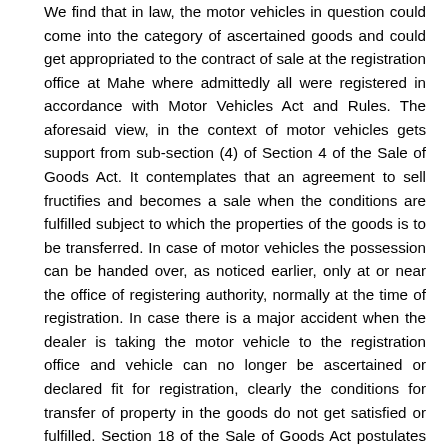We find that in law, the motor vehicles in question could come into the category of ascertained goods and could get appropriated to the contract of sale at the registration office at Mahe where admittedly all were registered in accordance with Motor Vehicles Act and Rules. The aforesaid view, in the context of motor vehicles gets support from sub-section (4) of Section 4 of the Sale of Goods Act. It contemplates that an agreement to sell fructifies and becomes a sale when the conditions are fulfilled subject to which the properties of the goods is to be transferred. In case of motor vehicles the possession can be handed over, as noticed earlier, only at or near the office of registering authority, normally at the time of registration. In case there is a major accident when the dealer is taking the motor vehicle to the registration office and vehicle can no longer be ascertained or declared fit for registration, clearly the conditions for transfer of property in the goods do not get satisfied or fulfilled. Section 18 of the Sale of Goods Act postulates that when a contract for sale is in respect of unascertained goods no property in the goods is transferred to the buyer unless and until the goods are ascertained. Even when the contract for sale is in respect of specific or ascertained goods, the property in such goods is transferred to the buyer only at such time as the parties intend. The intention of the parties in this regard is to be gathered from